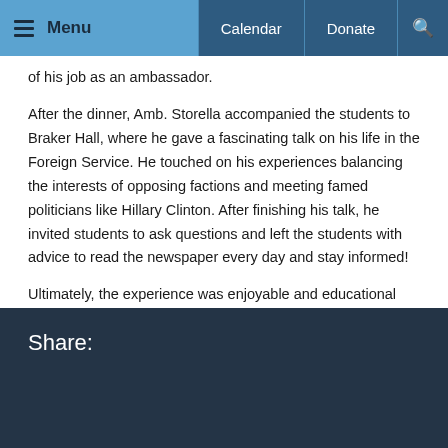Menu  Calendar  Donate
of his job as an ambassador.
After the dinner, Amb. Storella accompanied the students to Braker Hall, where he gave a fascinating talk on his life in the Foreign Service. He touched on his experiences balancing the interests of opposing factions and meeting famed politicians like Hillary Clinton. After finishing his talk, he invited students to ask questions and left the students with advice to read the newspaper every day and stay informed!
Ultimately, the experience was enjoyable and educational and greatly benefitted everyone who attended.
Share: